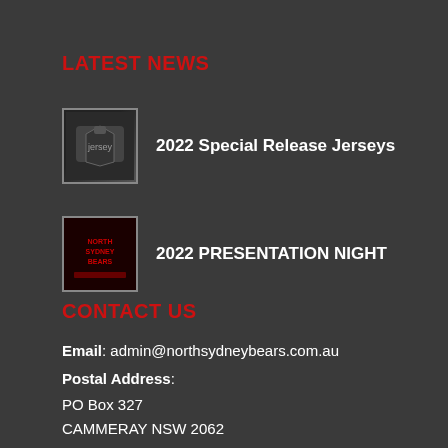LATEST NEWS
2022 Special Release Jerseys
2022 PRESENTATION NIGHT
CONTACT US
Email: admin@northsydneybears.com.au
Postal Address:
PO Box 327
CAMMERAY NSW 2062